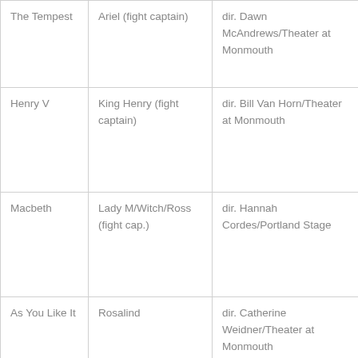| The Tempest | Ariel (fight captain) | dir. Dawn McAndrews/Theater at Monmouth |
| Henry V | King Henry (fight captain) | dir. Bill Van Horn/Theater at Monmouth |
| Macbeth | Lady M/Witch/Ross (fight cap.) | dir. Hannah Cordes/Portland Stage |
| As You Like It | Rosalind | dir. Catherine Weidner/Theater at Monmouth |
| Measure for | Isabella | dir. Catherine Weidner/Merle |